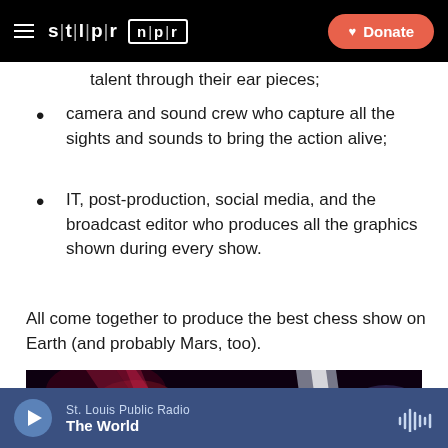STLPR NPR | Donate
talent through their ear pieces;
camera and sound crew who capture all the sights and sounds to bring the action alive;
IT, post-production, social media, and the broadcast editor who produces all the graphics shown during every show.
All come together to produce the best chess show on Earth (and probably Mars, too).
[Figure (photo): Dark atmospheric photo, likely of a broadcast/production studio with dramatic lighting including red/pink and white/blue light beams against a dark background]
St. Louis Public Radio | The World